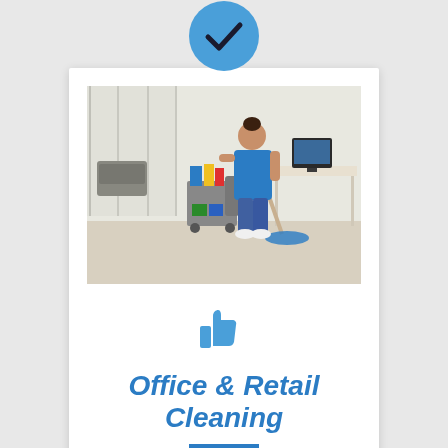[Figure (illustration): Blue circle with white checkmark icon at top of card]
[Figure (photo): A female cleaner in a blue uniform mopping an office floor with a cleaning cart full of supplies beside her]
[Figure (illustration): Blue thumbs up icon]
Office & Retail Cleaning